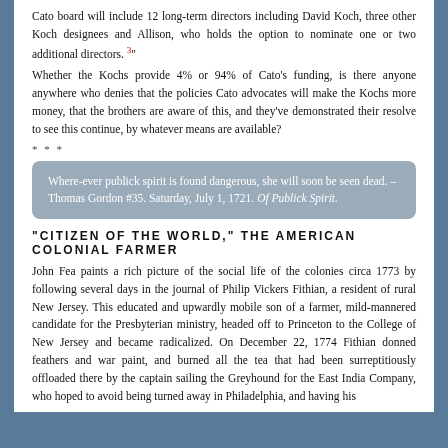Cato board will include 12 long-term directors including David Koch, three other Koch designees and Allison, who holds the option to nominate one or two additional directors. 3"
Whether the Kochs provide 4% or 94% of Cato's funding, is there anyone anywhere who denies that the policies Cato advocates will make the Kochs more money, that the brothers are aware of this, and they've demonstrated their resolve to see this continue, by whatever means are available?
* * *
Where-ever publick spirit is found dangerous, she will soon be seen dead. – Thomas Gordon #35. Saturday, July 1, 1721. Of Publick Spirit.
"CITIZEN OF THE WORLD," THE AMERICAN COLONIAL FARMER
John Fea paints a rich picture of the social life of the colonies circa 1773 by following several days in the journal of Philip Vickers Fithian, a resident of rural New Jersey. This educated and upwardly mobile son of a farmer, mild-mannered candidate for the Presbyterian ministry, headed off to Princeton to the College of New Jersey and became radicalized. On December 22, 1774 Fithian donned feathers and war paint, and burned all the tea that had been surreptitiously offloaded there by the captain sailing the Greyhound for the East India Company, who hoped to avoid being turned away in Philadelphia, and having his